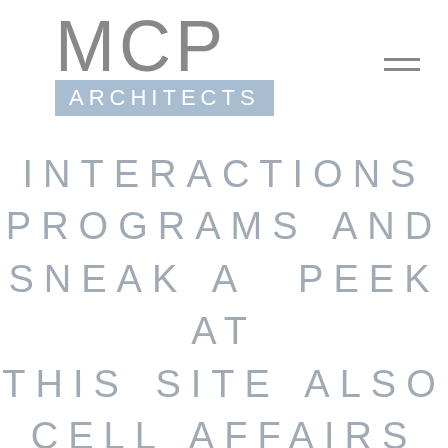MCP ARCHITECTS
INTERACTIONS PROGRAMS AND SNEAK A PEEK AT THIS SITE ALSO CELL AFFAIRS SOFTWAYOU"RE THE 2021